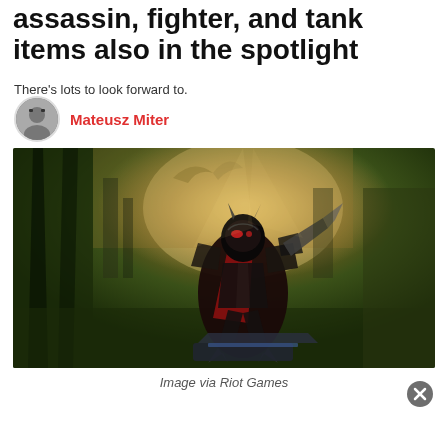assassin, fighter, and tank items also in the spotlight
There's lots to look forward to.
Mateusz Miter
[Figure (photo): League of Legends champion Zed posed in a dramatic dark fantasy environment with glowing lights, wearing a dark armored costume with red accents, crouching in an action pose with bladed weapons visible]
Image via Riot Games